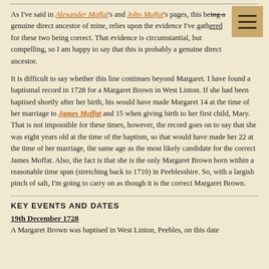As I've said in Alexander Moffat's and John Moffat's pages, this being a genuine direct ancestor of mine, relies upon the evidence I've gathered for these two being correct. That evidence is circumstantial, but compelling, so I am happy to say that this is probably a genuine direct ancestor.
It is difficult to say whether this line continues beyond Margaret. I have found a baptismal record in 1728 for a Margaret Brown in West Linton. If she had been baptised shortly after her birth, his would have made Margaret 14 at the time of her marriage to James Moffat and 15 when giving birth to her first child, Mary. That is not impossible for these times, however, the record goes on to say that she was eight years old at the time of the baptism, so that would have made her 22 at the time of her marriage, the same age as the most likely candidate for the correct James Moffat. Also, the fact is that she is the only Margaret Brown born within a reasonable time span (stretching back to 1710) in Peeblesshire. So, with a largish pinch of salt, I'm going to carry on as though it is the correct Margaret Brown.
KEY EVENTS AND DATES
19th December 1728
A Margaret Brown was baptised in West Linton, Peebles, on this date